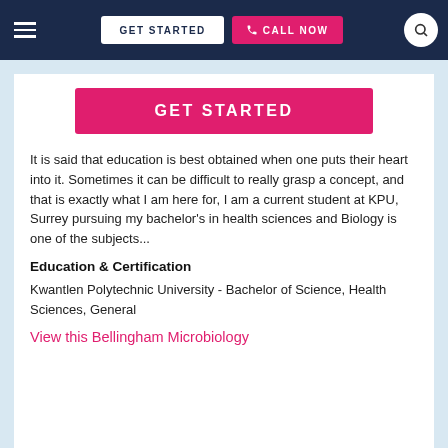≡  GET STARTED  📞 CALL NOW  🔍
[Figure (screenshot): Pink 'GET STARTED' button centered on page]
It is said that education is best obtained when one puts their heart into it. Sometimes it can be difficult to really grasp a concept, and that is exactly what I am here for, I am a current student at KPU, Surrey pursuing my bachelor's in health sciences and Biology is one of the subjects...
Education & Certification
Kwantlen Polytechnic University - Bachelor of Science, Health Sciences, General
View this Bellingham Microbiology